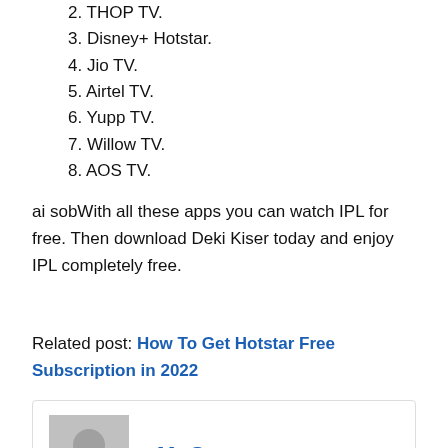2. THOP TV.
3. Disney+ Hotstar.
4. Jio TV.
5. Airtel TV.
6. Yupp TV.
7. Willow TV.
8. AOS TV.
ai sobWith all these apps you can watch IPL for free. Then download Deki Kiser today and enjoy IPL completely free.
Related post: How To Get Hotstar Free Subscription in 2022